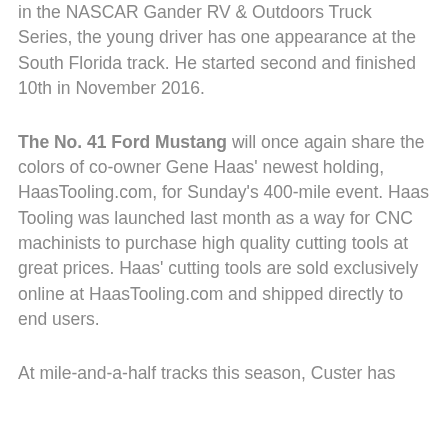in the NASCAR Gander RV & Outdoors Truck Series, the young driver has one appearance at the South Florida track. He started second and finished 10th in November 2016.
The No. 41 Ford Mustang will once again share the colors of co-owner Gene Haas' newest holding, HaasTooling.com, for Sunday's 400-mile event. Haas Tooling was launched last month as a way for CNC machinists to purchase high quality cutting tools at great prices. Haas' cutting tools are sold exclusively online at HaasTooling.com and shipped directly to end users.
At mile-and-a-half tracks this season, Custer has